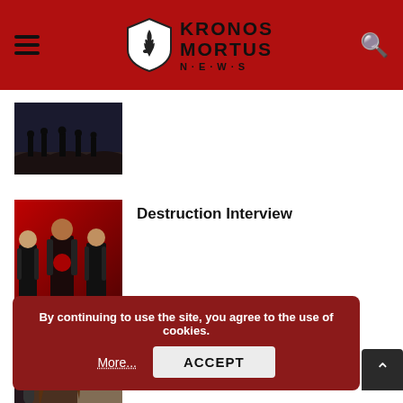Kronos Mortus News
[Figure (photo): Band photo showing silhouettes of band members on rocky terrain]
[Figure (photo): Destruction band photo — three members in black metal attire against red background]
Destruction Interview
[Figure (photo): Númenor interview photo — young man with long brown hair near microphone]
Númenor Interview
By continuing to use the site, you agree to the use of cookies.
More...
ACCEPT